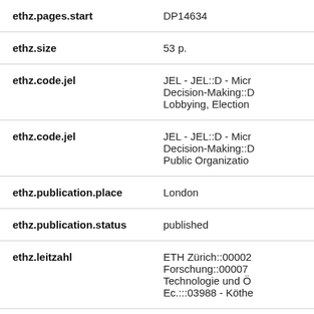| Field | Value |
| --- | --- |
| ethz.pages.start | DP14634 |
| ethz.size | 53 p. |
| ethz.code.jel | JEL - JEL::D - Micr Decision-Making::D Lobbying, Election |
| ethz.code.jel | JEL - JEL::D - Micr Decision-Making::D Public Organizatio |
| ethz.publication.place | London |
| ethz.publication.status | published |
| ethz.leitzahl | ETH Zürich::00002 Forschung::00007 Technologie und Ö Ec.:::03988 - Köthe |
| ethz.leitzahl.certified | ETH Zürich::00002 Forschung::00007 |